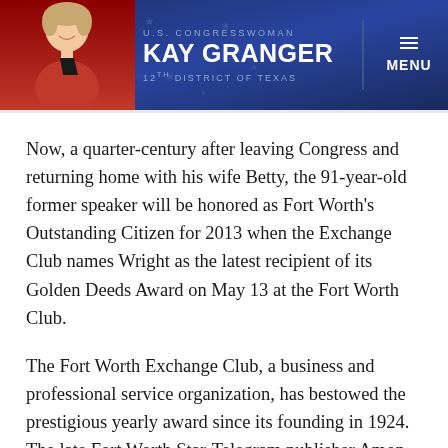[Figure (screenshot): Website header banner for U.S. Congresswoman Kay Granger, 12th District of Texas, with photo of congresswoman on left, name and title in center, and MENU button on right, all on a dark navy blue background.]
Now, a quarter-century after leaving Congress and returning home with his wife Betty, the 91-year-old former speaker will be honored as Fort Worth's Outstanding Citizen for 2013 when the Exchange Club names Wright as the latest recipient of its Golden Deeds Award on May 13 at the Fort Worth Club.
The Fort Worth Exchange Club, a business and professional service organization, has bestowed the prestigious yearly award since its founding in 1924. The late Fort Worth Star-Telegram publisher Amon